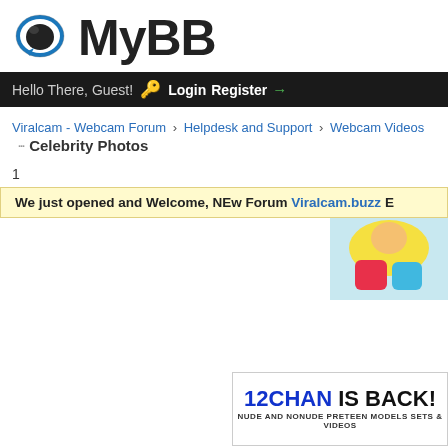[Figure (logo): MyBB forum logo with blue speech bubble icon and bold MyBB text]
Hello There, Guest! Login Register
Viralcam - Webcam Forum › Helpdesk and Support › Webcam Videos
Celebrity Photos
1
We just opened and Welcome, NEw Forum Viralcam.buzz E
[Figure (photo): Partial cropped photo of person in colorful swimwear]
[Figure (other): 12CHAN IS BACK! advertisement banner - NUDE AND NONUDE PRETEEN MODELS SETS & VIDEOS]